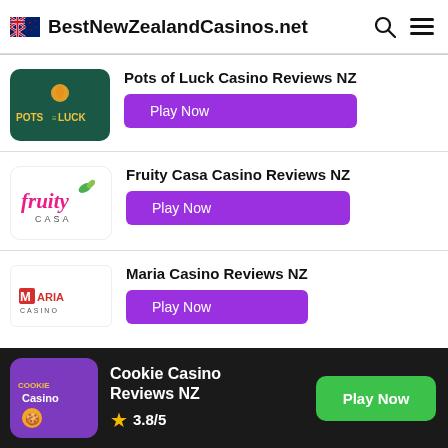BestNewZealandCasinos.net
Pots of Luck Casino Reviews NZ
Play Now
Fruity Casa Casino Reviews NZ
Play Now
Maria Casino Reviews NZ
Play Now
Cookie Casino Reviews NZ
3.8/5
Play Now